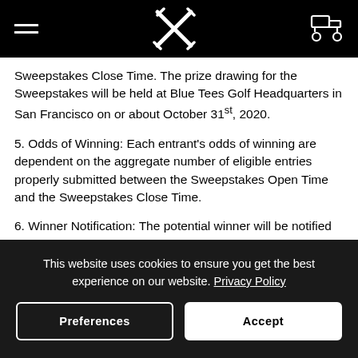[Blue Tees Golf navigation header with hamburger menu, crossed axes logo, and golf cart icon]
Sweepstakes Close Time. The prize drawing for the Sweepstakes will be held at Blue Tees Golf Headquarters in San Francisco on or about October 31st, 2020.
5. Odds of Winning: Each entrant's odds of winning are dependent on the aggregate number of eligible entries properly submitted between the Sweepstakes Open Time and the Sweepstakes Close Time.
6. Winner Notification: The potential winner will be notified via e-mail within 48 hours after the drawing, which is...
This website uses cookies to ensure you get the best experience on our website. Privacy Policy
Preferences
Accept